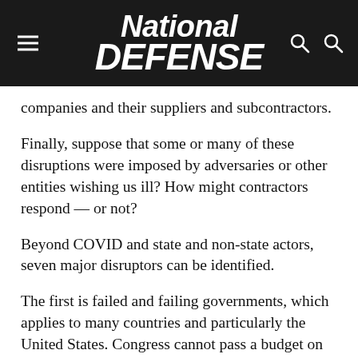National Defense
companies and their suppliers and subcontractors.
Finally, suppose that some or many of these disruptions were imposed by adversaries or other entities wishing us ill? How might contractors respond — or not?
Beyond COVID and state and non-state actors, seven major disruptors can be identified.
The first is failed and failing governments, which applies to many countries and particularly the United States. Congress cannot pass a budget on